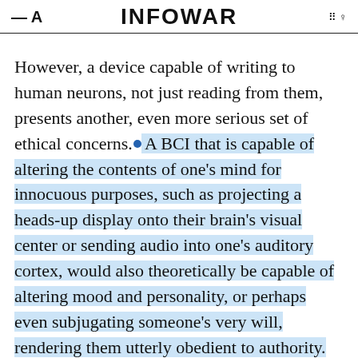INFOWAR
However, a device capable of writing to human neurons, not just reading from them, presents another, even more serious set of ethical concerns. A BCI that is capable of altering the contents of one's mind for innocuous purposes, such as projecting a heads-up display onto their brain's visual center or sending audio into one's auditory cortex, would also theoretically be capable of altering mood and personality, or perhaps even subjugating someone's very will, rendering them utterly obedient to authority. This technology would be a